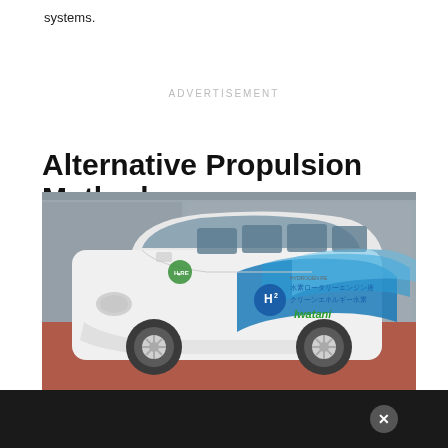systems.
ADVERTISEMENT
Alternative Propulsion Methods
[Figure (photo): White Mazda minivan with hydrogen rotary engine branding, featuring H2 logo, Japanese text (水素ロータリーエンジン搭, クリーンエネルギー水素), Iwatani branding, and blue wave graphics on the side, parked in front of a gray wall on a red surface.]